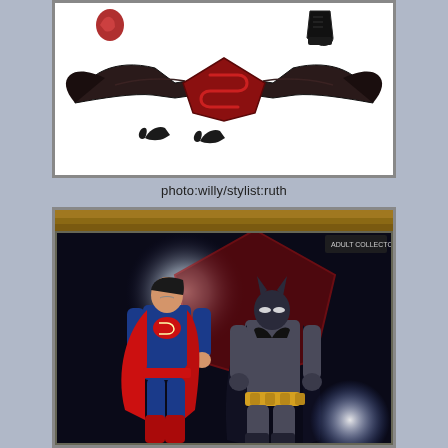[Figure (photo): Batman v Superman accessories and display stand on white background — red and black combined bat/Superman shield display base, bat-shaped accessories, and partial hand accessories.]
photo:willy/stylist:ruth
[Figure (photo): Batman v Superman 2-pack action figures in retail box — Superman in blue suit with red cape on left, Batman in grey armored suit with yellow belt on right, dark dramatic background with moon and Superman logo.]